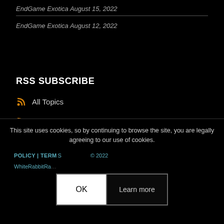EndGame Exotica August 15, 2022
EndGame Exotica August 12, 2022
RSS SUBSCRIBE
All Topics
Animation (12)
EEx
White Genocide (714)
This site uses cookies, so by continuing to browse the site, you are legally agreeing to our use of cookies. POLICY | TERMS ... © 2022 WhiteRabbitRa...
OK  Learn more